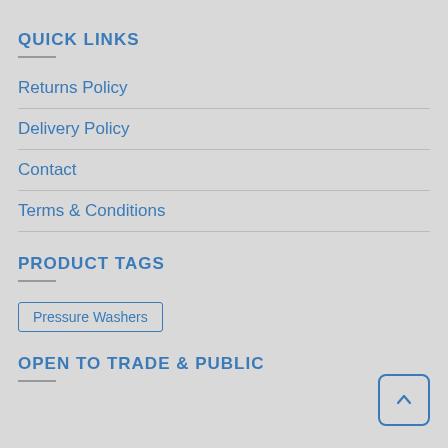QUICK LINKS
Returns Policy
Delivery Policy
Contact
Terms & Conditions
PRODUCT TAGS
Pressure Washers
OPEN TO TRADE & PUBLIC